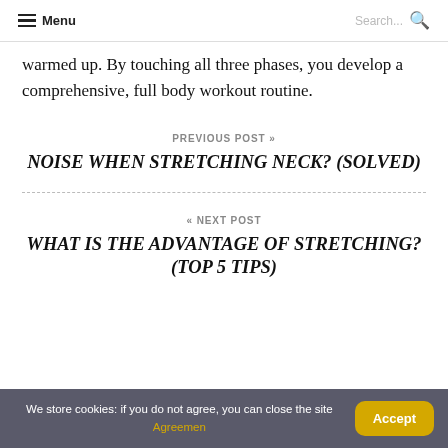Menu | Search...
warmed up. By touching all three phases, you develop a comprehensive, full body workout routine.
PREVIOUS POST »
NOISE WHEN STRETCHING NECK? (SOLVED)
« NEXT POST
WHAT IS THE ADVANTAGE OF STRETCHING? (TOP 5 TIPS)
We store cookies: if you do not agree, you can close the site Agreemen  Accept